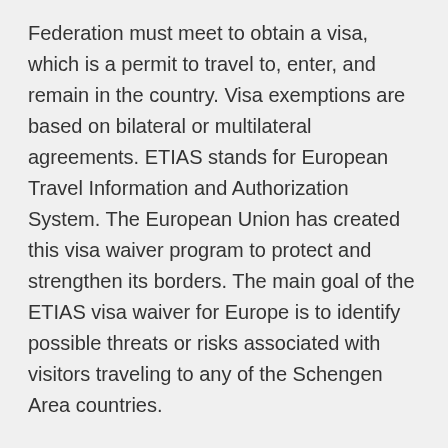Federation must meet to obtain a visa, which is a permit to travel to, enter, and remain in the country. Visa exemptions are based on bilateral or multilateral agreements. ETIAS stands for European Travel Information and Authorization System. The European Union has created this visa waiver program to protect and strengthen its borders. The main goal of the ETIAS visa waiver for Europe is to identify possible threats or risks associated with visitors traveling to any of the Schengen Area countries.
A toll-free hotline service (French only) can answer your questions Upon arrival in metropolitan France, a PCR test is required or, failing that, you Rules regarding airport transit visa requirements continue to app Football fans attending this summer's UEFA Euro 2020